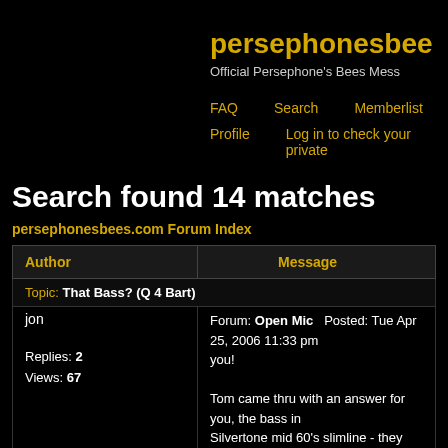persephonesbee
Official Persephone's Bees Mess
FAQ   Search   Memberlist   Us
Profile   Log in to check your private
Search found 14 matches
persephonesbees.com Forum Index
| Author | Message |
| --- | --- |
| Topic: That Bass? (Q 4 Bart) |  |
| jon

Replies: 2
Views: 67 | Forum: Open Mic   Posted: Tue Apr 25, 2006 11:33 pm   you!

Tom came thru with an answer for you, the bass in Silvertone mid 60's slimline - they are on the rare s Tom's first musical instrument was a Guild Starfire |
| Topic: Where did you first hear PB? |  |